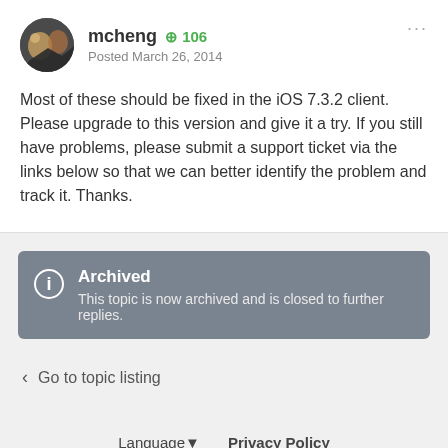mcheng +106 Posted March 26, 2014
Most of these should be fixed in the iOS 7.3.2 client.  Please upgrade to this version and give it a try.  If you still have problems, please submit a support ticket via the links below so that we can better identify the problem and track it.  Thanks.
Archived — This topic is now archived and is closed to further replies.
Go to topic listing
Language ▼   Privacy Policy
Powered by Invision Community